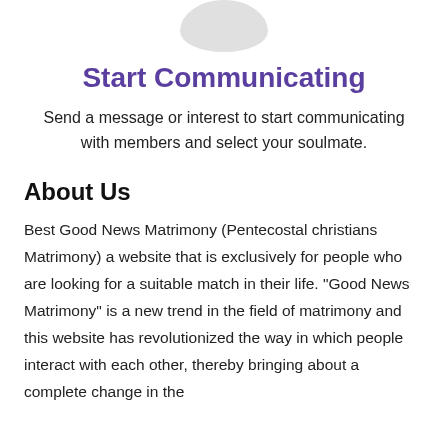[Figure (illustration): Partial gray avatar/profile circle graphic at top center]
Start Communicating
Send a message or interest to start communicating with members and select your soulmate.
About Us
Best Good News Matrimony (Pentecostal christians Matrimony) a website that is exclusively for people who are looking for a suitable match in their life. "Good News Matrimony" is a new trend in the field of matrimony and this website has revolutionized the way in which people interact with each other, thereby bringing about a complete change in the